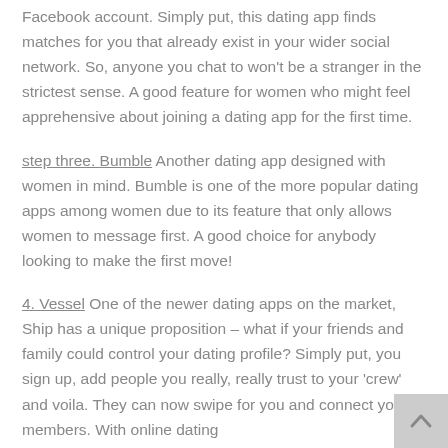Facebook account. Simply put, this dating app finds matches for you that already exist in your wider social network. So, anyone you chat to won't be a stranger in the strictest sense. A good feature for women who might feel apprehensive about joining a dating app for the first time.
step three. Bumble Another dating app designed with women in mind. Bumble is one of the more popular dating apps among women due to its feature that only allows women to message first. A good choice for anybody looking to make the first move!
4. Vessel One of the newer dating apps on the market, Ship has a unique proposition – what if your friends and family could control your dating profile? Simply put, you sign up, add people you really, really trust to your 'crew' and voila. They can now swipe for you and connect you to members. With online dating